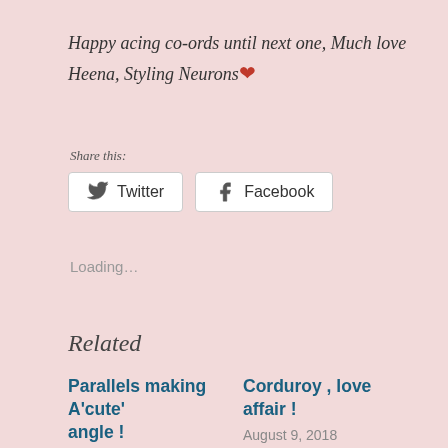Happy acing co-ords until next one, Much love Heena, Styling Neurons ❤
Share this:
Twitter  Facebook
Loading...
Related
Parallels making A'cute' angle !
April 30, 2018
Corduroy , love affair !
August 9, 2018
In "Autumn Winter Fashion"